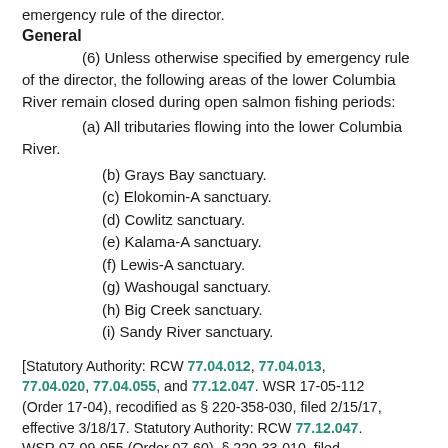emergency rule of the director.
General
(6) Unless otherwise specified by emergency rule of the director, the following areas of the lower Columbia River remain closed during open salmon fishing periods:
(a) All tributaries flowing into the lower Columbia River.
(b) Grays Bay sanctuary.
(c) Elokomin-A sanctuary.
(d) Cowlitz sanctuary.
(e) Kalama-A sanctuary.
(f) Lewis-A sanctuary.
(g) Washougal sanctuary.
(h) Big Creek sanctuary.
(i) Sandy River sanctuary.
[Statutory Authority: RCW 77.04.012, 77.04.013, 77.04.020, 77.04.055, and 77.12.047. WSR 17-05-112 (Order 17-04), recodified as § 220-358-030, filed 2/15/17, effective 3/18/17. Statutory Authority: RCW 77.12.047. WSR 07-09-055 (Order 07-60), § 220-33-010, filed